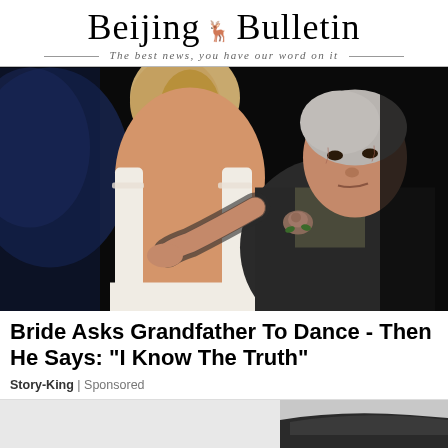Beijing Bulletin — The best news, you have our word on it
[Figure (photo): A bride with braided blonde hair in a backless lace wedding dress embracing an elderly grandfather in a dark suit with a rose boutonniere, dancing together at the wedding reception against a dark background.]
Bride Asks Grandfather To Dance - Then He Says: "I Know The Truth"
Story-King | Sponsored
[Figure (photo): Partial image at bottom of page, appears to show a dark car or vehicle.]